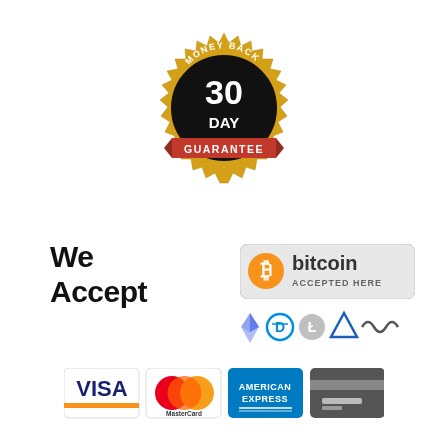[Figure (logo): 30 Day Money Back Guarantee gold badge/seal with black center circle showing '30 DAY' in large text, 'MONEY BACK' text at top, and red ribbon banner at bottom reading 'GUARANTEE']
We
Accept
[Figure (logo): Bitcoin accepted here badge with orange Bitcoin logo and text 'bitcoin ACCEPTED HERE' on grey rounded rectangle background]
[Figure (logo): Cryptocurrency icons: Ethereum diamond, Dash D-logo, Litecoin circle, Vertcoin triangle, NXT wavy line]
[Figure (logo): Payment card logos: VISA (blue/orange), MasterCard (overlapping red/orange circles), American Express (blue), generic credit card (dark grey)]